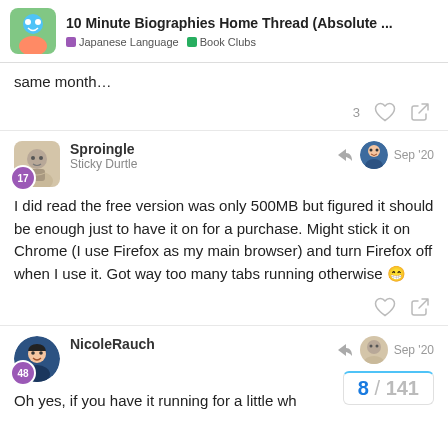10 Minute Biographies Home Thread (Absolute ... | Japanese Language | Book Clubs
same month...
Sproingle
Sticky Durtle
Sep '20
I did read the free version was only 500MB but figured it should be enough just to have it on for a purchase. Might stick it on Chrome (I use Firefox as my main browser) and turn Firefox off when I use it. Got way too many tabs running otherwise 😁
NicoleRauch
Sep '20
Oh yes, if you have it running for a little wh
8 / 141